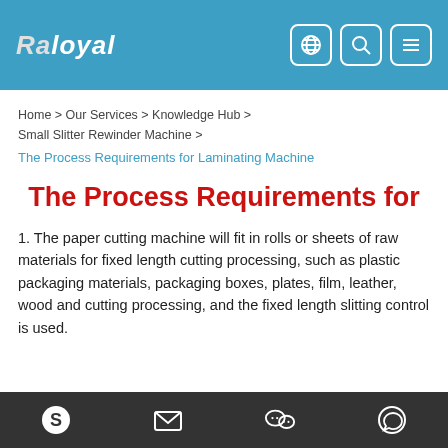RaLoyal [logo with globe, search, menu icons]
Home > Our Services > Knowledge Hub > Small Slitter Rewinder Machine >
The Process Requirements for Laminating Machine
The Process Requirements for
1. The paper cutting machine will fit in rolls or sheets of raw materials for fixed length cutting processing, such as plastic packaging materials, packaging boxes, plates, film, leather, wood and cutting processing, and the fixed length slitting control is used.
[Skype] [Email] [WeChat] [WhatsApp]